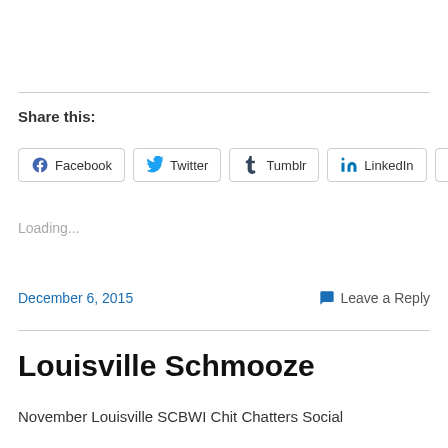Share this:
[Figure (other): Social share buttons: Facebook, Twitter, Tumblr, LinkedIn, More]
Loading...
December 6, 2015
Leave a Reply
Louisville Schmooze
November Louisville SCBWI Chit Chatters Social